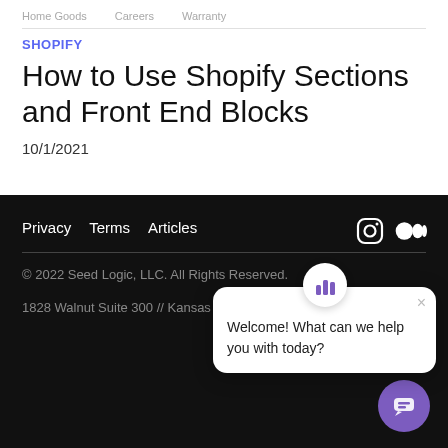Home Goods   Careers   Warranty
SHOPIFY
How to Use Shopify Sections and Front End Blocks
10/1/2021
Privacy   Terms   Articles
[Figure (other): Chat widget popup with avatar showing bar chart icon and message: Welcome! What can we help you with today? with close button]
© 2022 Seed Logic, LLC. All Rights Reserved.
1828 Walnut Suite 300 // Kansas City, MO 64108